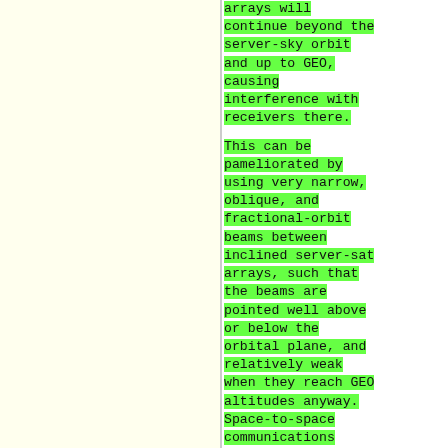arrays will continue beyond the server-sky orbit and up to GEO, causing interference with receivers there.

This can be pameliorated by using very narrow, oblique, and fractional-orbit beams between inclined server-sat arrays, such that the beams are pointed well above or below the orbital plane, and relatively weak when they reach GEO altitudes anyway. Space-to-space communications